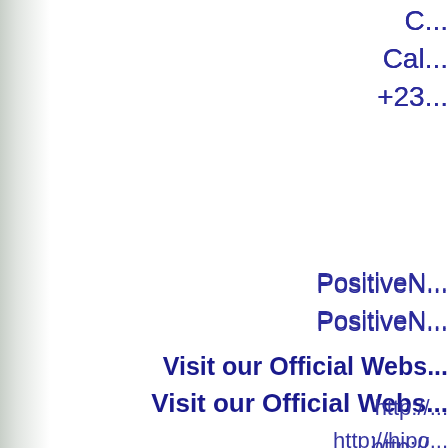C...
Cal...
+23...
PositiveN...
PositiveN...
Visit our Official Webs...
http://...
http://hipo...
http://hipo...
http://adepo...
http://positiv...
http://positivepr...
http://positivepr...